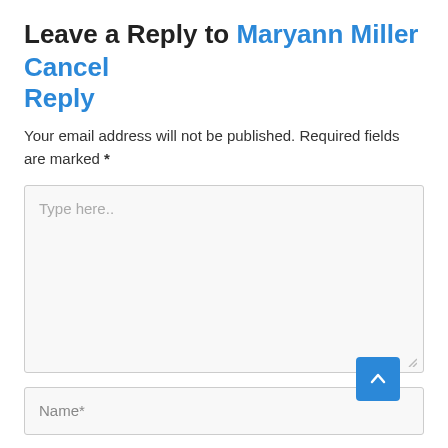Leave a Reply to Maryann Miller Cancel Reply
Your email address will not be published. Required fields are marked *
[Figure (screenshot): Comment text area input field with placeholder text 'Type here..']
[Figure (screenshot): Name input field with placeholder text 'Name*' and a blue scroll-to-top button]